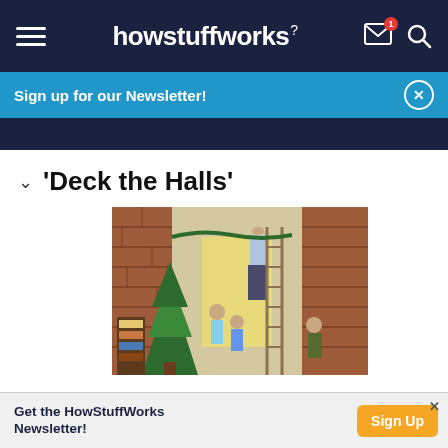howstuffworks
Sign up for our Newsletter!
'Deck the Halls'
[Figure (photo): Vintage illustration of a family decorating their home for Christmas. A man on a ladder hangs decorations near a doorway while children assist below, with a Christmas tree visible on the left side. The image has a warm, mid-century American style.]
Get the HowStuffWorks Newsletter!
Sign Up